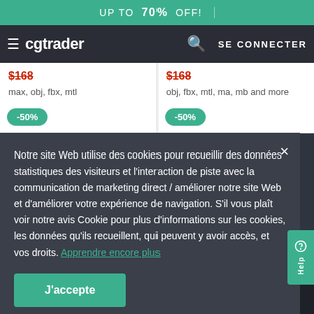UP TO 70% OFF!
cgtrader  SE CONNECTER
max, obj, fbx, mtl
obj, fbx, mtl, ma, mb and more
-50%
-50%
Notre site Web utilise des cookies pour recueillir des données statistiques des visiteurs et l'interaction de piste avec la communication de marketing direct / améliorer notre site Web et d'améliorer votre expérience de navigation. S'il vous plaît voir notre avis Cookie pour plus d'informations sur les cookies, les données qu'ils recueillent, qui peuvent y avoir accès, et vos droits. Apprendre encore plus
J'accepte
20  0